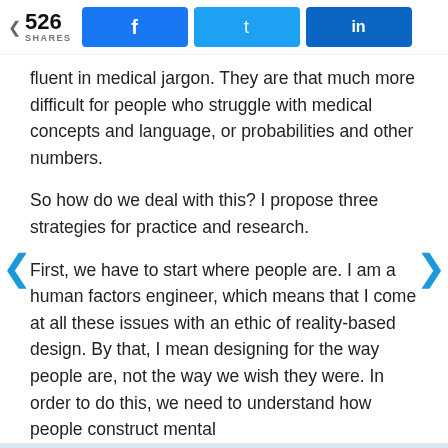526 SHARES | Facebook | Twitter | LinkedIn
fluent in medical jargon. They are that much more difficult for people who struggle with medical concepts and language, or probabilities and other numbers.
So how do we deal with this? I propose three strategies for practice and research.
First, we have to start where people are. I am a human factors engineer, which means that I come at all these issues with an ethic of reality-based design. By that, I mean designing for the way people are, not the way we wish they were. In order to do this, we need to understand how people construct mental
✓  Join 150,000+ subscribers
✓  Get KevinMD's most popular stories
Email | Subscribe. It's free.